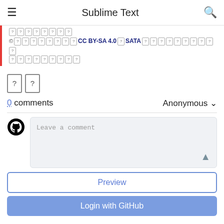Sublime Text
© [?] CC BY-SA 4.0 [?] SATA [?]
[Figure (other): Two large question-mark boxes representing unrecognized characters]
0 comments   Anonymous ▾
[Figure (other): GitHub Octocat icon]
Leave a comment
Preview
Login with GitHub